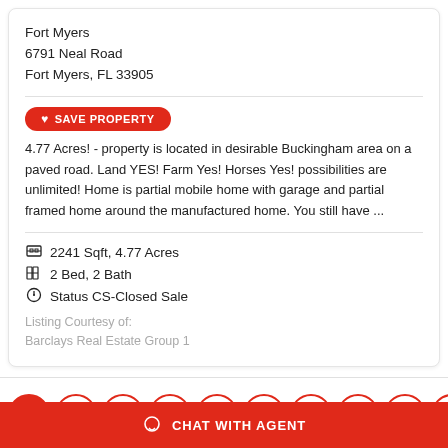Fort Myers
6791 Neal Road
Fort Myers, FL 33905
4.77 Acres! - property is located in desirable Buckingham area on a paved road. Land YES! Farm Yes! Horses Yes! possibilities are unlimited! Home is partial mobile home with garage and partial framed home around the manufactured home. You still have ...
2241 Sqft, 4.77 Acres
2 Bed, 2 Bath
Status CS-Closed Sale
Listing Courtesy of:
Barclays Real Estate Group 1